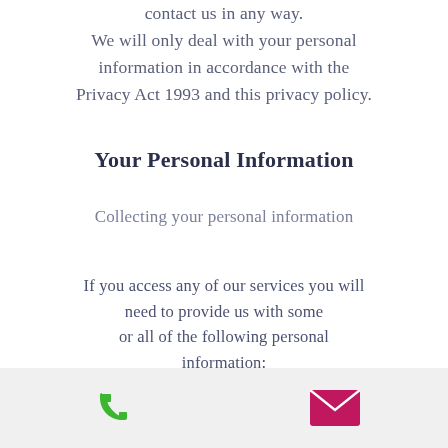contact us in any way. We will only deal with your personal information in accordance with the Privacy Act 1993 and this privacy policy.
Your Personal Information
Collecting your personal information
If you access any of our services you will need to provide us with some or all of the following personal information:
Your name.
Your email address.
Your residential or postal address.
Your credit card number, name on your
[Figure (other): Footer bar with phone icon (green) on left and email/envelope icon (magenta/pink) on right, on light grey background]